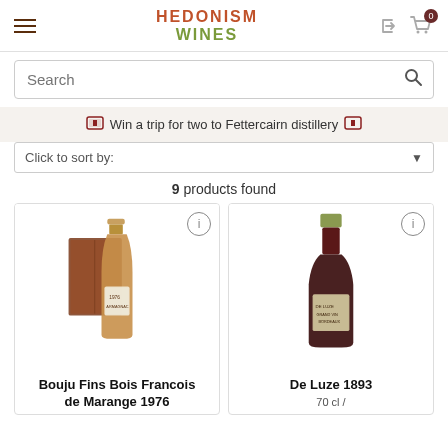HEDONISM WINES
Search
Win a trip for two to Fettercairn distillery
Click to sort by:
9 products found
[Figure (photo): Bottle of Bouju Fins Bois Francois de Marange 1976 with wooden box]
Bouju Fins Bois Francois de Marange 1976
[Figure (photo): Bottle of De Luze 1893]
De Luze 1893
70 cl /